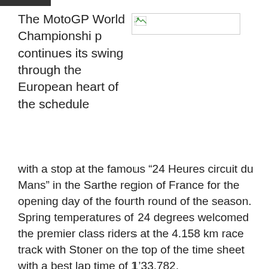[Figure (photo): Broken/missing image placeholder shown in top right area]
The MotoGP World Championship continues its swing through the European heart of the schedule with a stop at the famous “24 Heures circuit du Mans” in the Sarthe region of France for the opening day of the fourth round of the season. Spring temperatures of 24 degrees welcomed the premier class riders at the 4.158 km race track with Stoner on the top of the time sheet with a best lap time of 1’33.782.